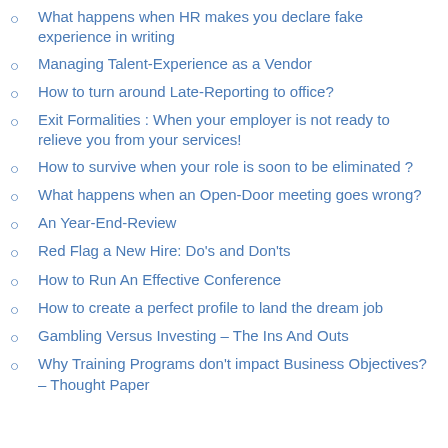What happens when HR makes you declare fake experience in writing
Managing Talent-Experience as a Vendor
How to turn around Late-Reporting to office?
Exit Formalities : When your employer is not ready to relieve you from your services!
How to survive when your role is soon to be eliminated ?
What happens when an Open-Door meeting goes wrong?
An Year-End-Review
Red Flag a New Hire: Do's and Don'ts
How to Run An Effective Conference
How to create a perfect profile to land the dream job
Gambling Versus Investing – The Ins And Outs
Why Training Programs don't impact Business Objectives? – Thought Paper